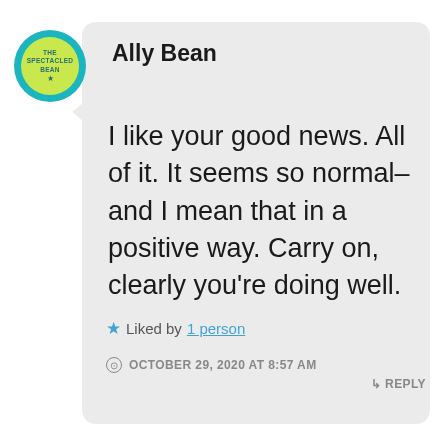[Figure (logo): Circular avatar logo for The Spectacled Bean blog — teal outer ring, yellow-green inner circle with small text reading THE SPECTACLED BEAN and a star icon]
Ally Bean
I like your good news. All of it. It seems so normal– and I mean that in a positive way. Carry on, clearly you're doing well.
★ Liked by 1 person
OCTOBER 29, 2020 AT 8:57 AM  ↳ REPLY